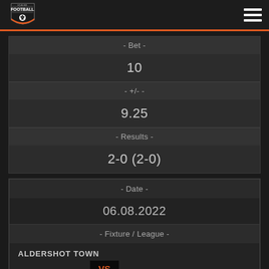Equaliser Football
- Bet -
10
- +/- -
9.25
- Results -
2-0 (2-0)
- Date -
06.08.2022
- Fixture / League -
ALDERSHOT TOWN vs SOLIHULL MOORS